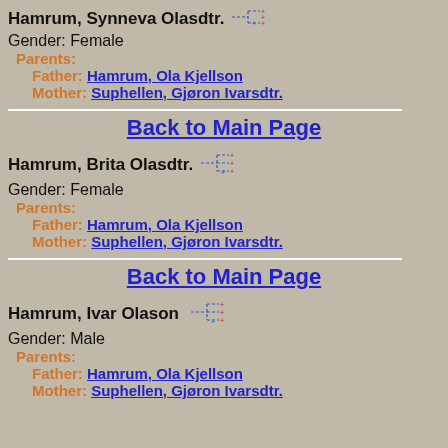Hamrum, Synneva Olasdtr.
Gender: Female
Parents:
Father: Hamrum, Ola Kjellson
Mother: Suphellen, Gjøron Ivarsdtr.
Back to Main Page
Hamrum, Brita Olasdtr.
Gender: Female
Parents:
Father: Hamrum, Ola Kjellson
Mother: Suphellen, Gjøron Ivarsdtr.
Back to Main Page
Hamrum, Ivar Olason
Gender: Male
Parents:
Father: Hamrum, Ola Kjellson
Mother: Suphellen, Gjøron Ivarsdtr.